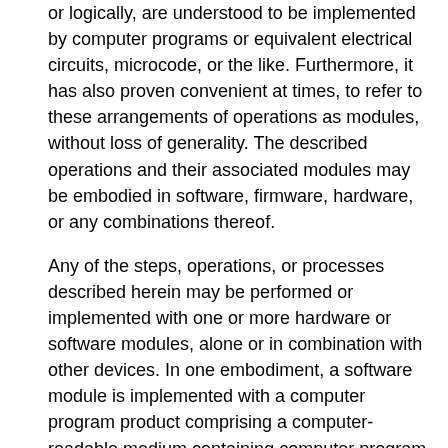or logically, are understood to be implemented by computer programs or equivalent electrical circuits, microcode, or the like. Furthermore, it has also proven convenient at times, to refer to these arrangements of operations as modules, without loss of generality. The described operations and their associated modules may be embodied in software, firmware, hardware, or any combinations thereof.
Any of the steps, operations, or processes described herein may be performed or implemented with one or more hardware or software modules, alone or in combination with other devices. In one embodiment, a software module is implemented with a computer program product comprising a computer-readable medium containing computer program code, which can be executed by a computer processor for performing any or all of the steps, operations, or processes described.
Embodiments may also relate to an apparatus for performing the operations herein. This apparatus may be specially constructed for the required purposes, and/or it may comprise a general-purpose computing device selectively activated or reconfigured by a computer